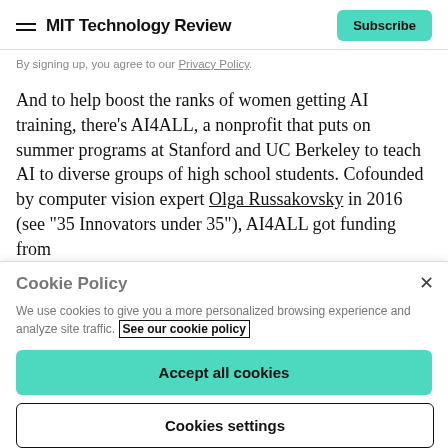MIT Technology Review  Subscribe
By signing up, you agree to our Privacy Policy.
And to help boost the ranks of women getting AI training, there’s AI4ALL, a nonprofit that puts on summer programs at Stanford and UC Berkeley to teach AI to diverse groups of high school students. Cofounded by computer vision expert Olga Russakovsky in 2016 (see “35 Innovators under 35”), AI4ALL got funding from
Cookie Policy
We use cookies to give you a more personalized browsing experience and analyze site traffic. See our cookie policy
Accept all cookies
Cookies settings